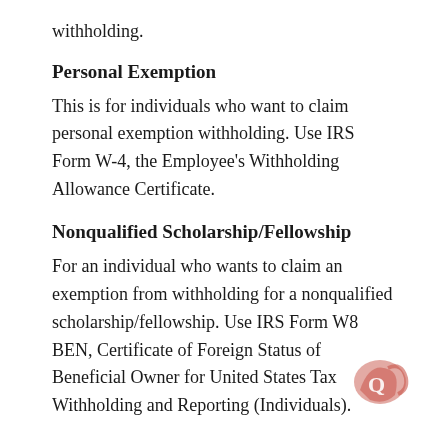withholding.
Personal Exemption
This is for individuals who want to claim personal exemption withholding. Use IRS Form W-4, the Employee's Withholding Allowance Certificate.
Nonqualified Scholarship/Fellowship
For an individual who wants to claim an exemption from withholding for a nonqualified scholarship/fellowship. Use IRS Form W8 BEN, Certificate of Foreign Status of Beneficial Owner for United States Tax Withholding and Reporting (Individuals).